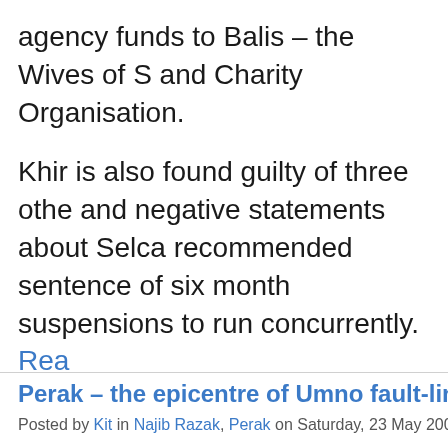agency funds to Balis – the Wives of S and Charity Organisation.
Khir is also found guilty of three other and negative statements about Selca recommended sentence of six month suspensions to run concurrently. Read
Perak – the epicentre of Umno fault-lin
Posted by Kit in Najib Razak, Perak on Saturday, 23 May 2009